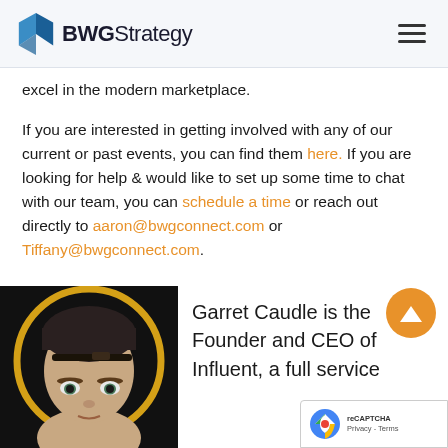BWGStrategy
excel in the modern marketplace.
If you are interested in getting involved with any of our current or past events, you can find them here. If you are looking for help & would like to set up some time to chat with our team, you can schedule a time or reach out directly to aaron@bwgconnect.com or Tiffany@bwgconnect.com.
[Figure (photo): Headshot of Garret Caudle against a dark background with gold/orange ring border]
Garret Caudle is the Founder and CEO of Influent, a full service